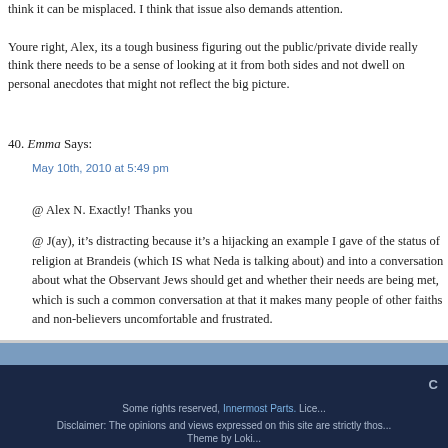think it can be misplaced. I think that issue also demands attention.
Youre right, Alex, its a tough business figuring out the public/private divide really think there needs to be a sense of looking at it from both sides and not dwell on personal anecdotes that might not reflect the big picture.
40. Emma Says: May 10th, 2010 at 5:49 pm
@ Alex N. Exactly! Thanks you
@ J(ay), it’s distracting because it’s a hijacking an example I gave of the status of religion at Brandeis (which IS what Neda is talking about) and into a conversation about what the Observant Jews should get and whether their needs are being met, which is such a common conversation at that it makes many people of other faiths and non-believers uncomfortable and frustrated.
Some rights reserved, Innermost Parts. Lice... Disclaimer: The opinions and views expressed on this site are strictly those... Theme by Loki...